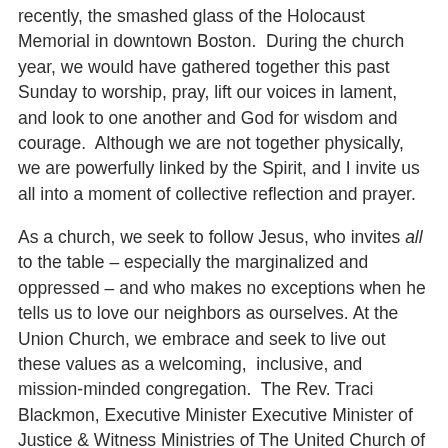recently, the smashed glass of the Holocaust Memorial in downtown Boston.  During the church year, we would have gathered together this past Sunday to worship, pray, lift our voices in lament, and look to one another and God for wisdom and courage.  Although we are not together physically, we are powerfully linked by the Spirit, and I invite us all into a moment of collective reflection and prayer.
As a church, we seek to follow Jesus, who invites all to the table – especially the marginalized and oppressed – and who makes no exceptions when he tells us to love our neighbors as ourselves. At the Union Church, we embrace and seek to live out these values as a welcoming,  inclusive, and mission-minded congregation.  The Rev. Traci Blackmon, Executive Minister Executive Minister of Justice & Witness Ministries of The United Church of Christ said it beautifully during a prayer service in Charlottesville last Friday: "Faith calls us to see the humanity in...